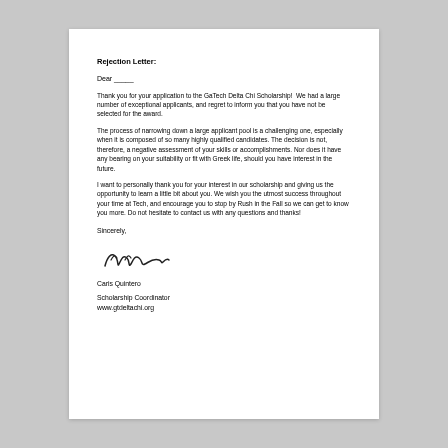Rejection Letter:
Dear _____
Thank you for your application to the GaTech Delta Chi Scholarship!  We had a large number of exceptional applicants, and regret to inform you that you have not be selected for the award.
The process of narrowing down a large applicant pool is a challenging one, especially when it is composed of so many highly qualified candidates. The decision is not, therefore, a negative assessment of your skills or accomplishments. Nor does it have any bearing on your suitability or fit with Greek life, should you have interest in the future.
I want to personally thank you for your interest in our scholarship and giving us the opportunity to learn a little bit about you. We wish you the utmost success throughout your time at Tech, and encourage you to stop by Rush in the Fall so we can get to know you more. Do not hesitate to contact us with any questions and thanks!
Sincerely,
[Figure (illustration): Handwritten cursive signature]
Caris Quintero
Scholarship Coordinator
www.gtdeltachi.org